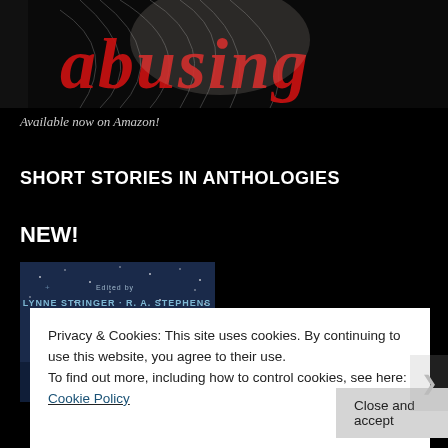[Figure (illustration): Top portion of a book cover with dark background, red stylized script text partially visible, and sketched hair/figure artwork]
Available now on Amazon!
SHORT STORIES IN ANTHOLOGIES
NEW!
[Figure (photo): Book cover with dark blue starry background. Edited by LYNNE STRINGER & R. A. STEPHENS text visible.]
Privacy & Cookies: This site uses cookies. By continuing to use this website, you agree to their use.
To find out more, including how to control cookies, see here: Cookie Policy
Close and accept